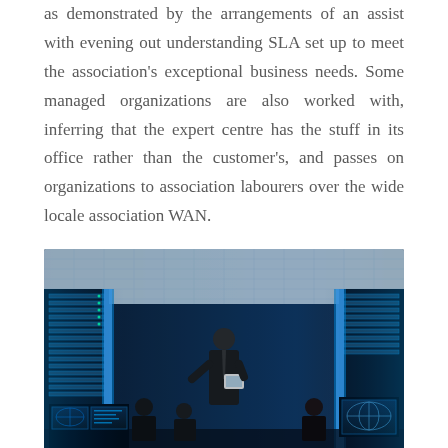as demonstrated by the arrangements of an assist with evening out understanding SLA set up to meet the association's exceptional business needs. Some managed organizations are also worked with, inferring that the expert centre has the stuff in its office rather than the customer's, and passes on organizations to association labourers over the wide locale association WAN.
[Figure (photo): A technology operations center with multiple people sitting at workstations with large monitors displaying maps and data. A man in a suit stands in the center, holding a tablet. The room has blue-tinted lighting and server racks visible in the background.]